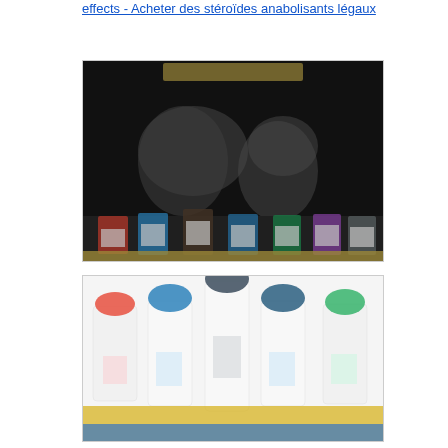effects - Acheter des stéroïdes anabolisants légaux
[Figure (photo): Dark/black background image showing blurry muscular figures with colorful product bottles at the bottom, product advertisement style]
[Figure (photo): White background image showing multiple supplement bottles/products arranged in a row with colorful circular labels, product advertisement style]